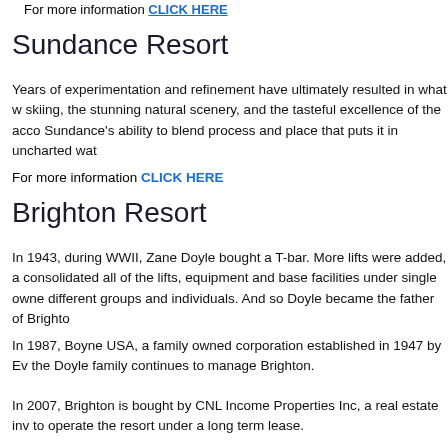For more information CLICK HERE
Sundance Resort
Years of experimentation and refinement have ultimately resulted in what w skiing, the stunning natural scenery, and the tasteful excellence of the acco Sundance's ability to blend process and place that puts it in uncharted wat
For more information CLICK HERE
Brighton Resort
In 1943, during WWII, Zane Doyle bought a T-bar. More lifts were added, a consolidated all of the lifts, equipment and base facilities under single owne different groups and individuals. And so Doyle became the father of Brighto
In 1987, Boyne USA, a family owned corporation established in 1947 by Ev the Doyle family continues to manage Brighton.
In 2007, Brighton is bought by CNL Income Properties Inc, a real estate inv to operate the resort under a long term lease.